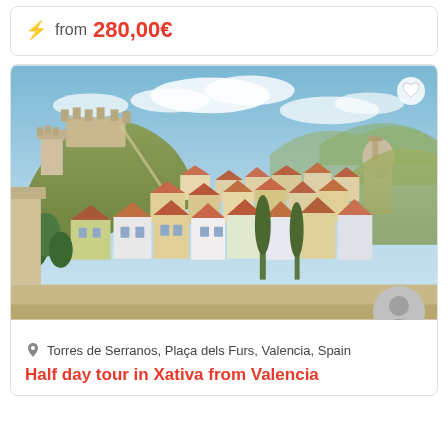from 280,00€
[Figure (photo): Aerial panoramic view of Xativa (Xàtiva), Spain, showing terracotta-roofed buildings on a hillside with a medieval castle at the top, green trees, and a church dome visible in the background under a cloudy blue sky.]
Torres de Serranos, Plaça dels Furs, Valencia, Spain
Half day tour in Xativa from Valencia